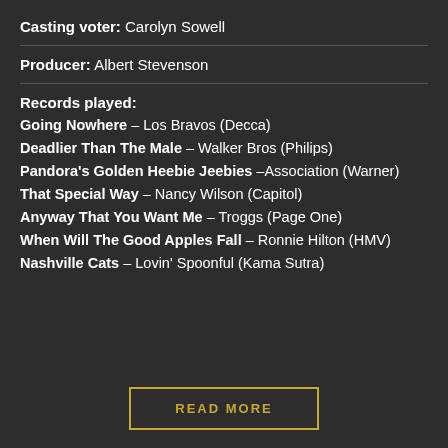Casting voter: Carolyn Sowell
Producer: Albert Stevenson
Records played:
Going Nowhere – Los Bravos (Decca)
Deadlier Than The Male – Walker Bros (Philips)
Pandora's Golden Heebie Jeebies –Association (Warner)
That Special Way – Nancy Wilson (Capitol)
Anyway That You Want Me – Troggs (Page One)
When Will The Good Apples Fall – Ronnie Hilton (HMV)
Nashville Cats – Lovin' Spoonful (Kama Sutra)
READ MORE